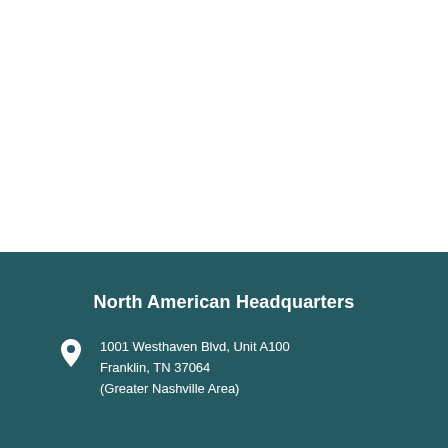North American Headquarters
1001 Westhaven Blvd, Unit A100
Franklin, TN 37064
(Greater Nashville Area)